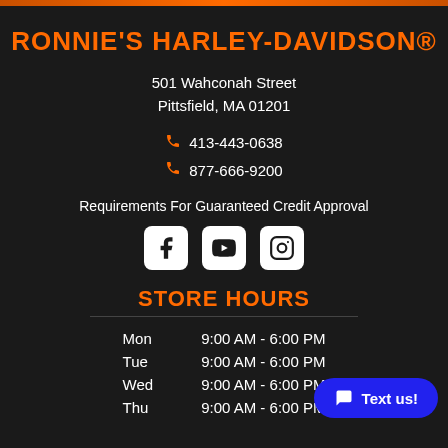RONNIE'S HARLEY-DAVIDSON®
501 Wahconah Street
Pittsfield, MA 01201
413-443-0638
877-666-9200
Requirements For Guaranteed Credit Approval
[Figure (infographic): Social media icons: Facebook, YouTube, Instagram in white rounded square icons]
STORE HOURS
| Day | Hours |
| --- | --- |
| Mon | 9:00 AM - 6:00 PM |
| Tue | 9:00 AM - 6:00 PM |
| Wed | 9:00 AM - 6:00 PM |
| Thu | 9:00 AM - 6:00 PM |
Text us!